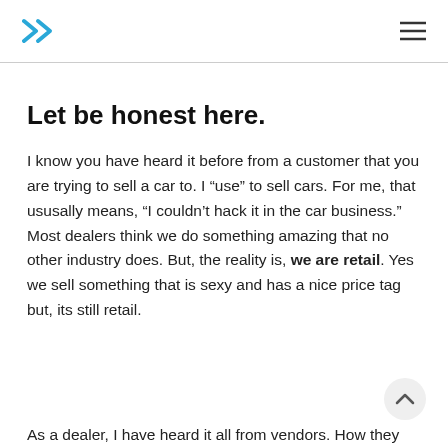>> navigation logo and hamburger menu
Let be honest here.
I know you have heard it before from a customer that you are trying to sell a car to. I “use” to sell cars. For me, that ususally means, “I couldn’t hack it in the car business.” Most dealers think we do something amazing that no other industry does. But, the reality is, we are retail. Yes we sell something that is sexy and has a nice price tag but, its still retail.
As a dealer, I have heard it all from vendors. How they